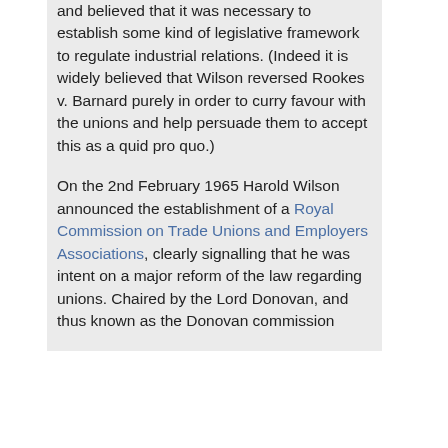and believed that it was necessary to establish some kind of legislative framework to regulate industrial relations. (Indeed it is widely believed that Wilson reversed Rookes v. Barnard purely in order to curry favour with the unions and help persuade them to accept this as a quid pro quo.)
On the 2nd February 1965 Harold Wilson announced the establishment of a Royal Commission on Trade Unions and Employers Associations, clearly signalling that he was intent on a major reform of the law regarding unions. Chaired by the Lord Donovan, and thus known as the Donovan commission